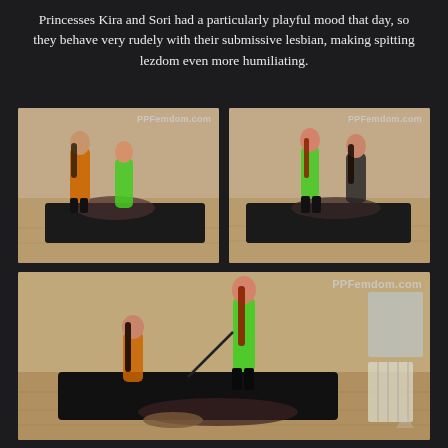Princesses Kira and Sori had a particularly playful mood that day, so they behave very rudely with their submissive lesbian, making spitting lezdom even more humiliating.
[Figure (photo): Two women in colorful outfits with a third person lying on a black padded table in a room with wooden floors. Watermark: PPFemdom.com]
[Figure (photo): Two women standing over a person lying on a black padded table in a room with wooden floors. Watermark: PPFemdom.com]
[Figure (photo): Wider shot of two women with a person on a black padded table in a room with wooden floors. One woman holds a whip. Watermark: PPFemdom.com]